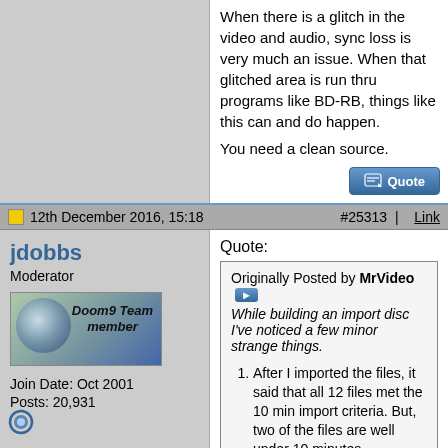When there is a glitch in the video and audio, sync loss is very much an issue. When that glitched area is run thru programs like BD-RB, things like this can and do happen.

You need a clean source.
12th December 2016, 15:18  #25313 | Link
jdobbs
Moderator
Join Date: Oct 2001
Posts: 20,931
Quote:
Originally Posted by MrVideo
While building an import disc I've noticed a few minor strange things.
1. After I imported the files, it said that all 12 files met the 10 min import criteria. But, two of the files are well under 10 minutes.
2. After the job was done importing and putting together the menu and BD file...